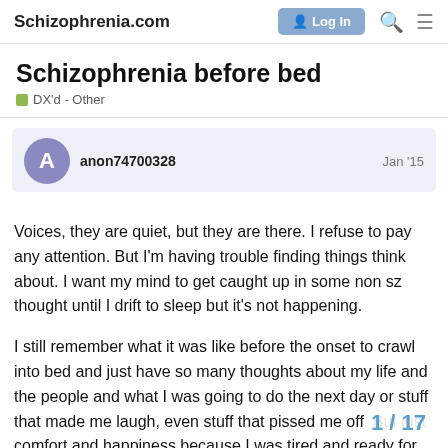Schizophrenia.com | Log In
Schizophrenia before bed
DX'd - Other
anon74700328  Jan '15
Voices, they are quiet, but they are there. I refuse to pay any attention. But I'm having trouble finding things think about. I want my mind to get caught up in some non sz thought until I drift to sleep but it's not happening.

I still remember what it was like before the onset to crawl into bed and just have so many thoughts about my life and the people and what I was going to do the next day or stuff that made me laugh, even stuff that pissed me off. But just comfort and happiness because I was tired and ready for bed. My mental framework is just [redacted], the mind... voices even when they are this quiet keep
1 / 17